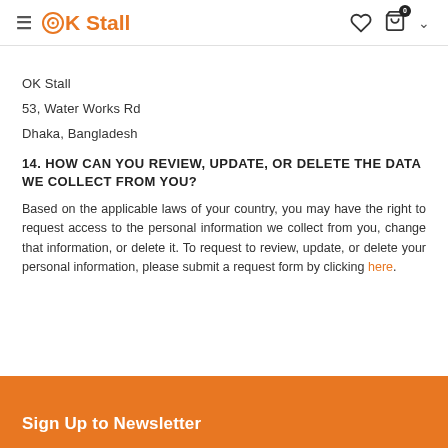OK Stall
OK Stall
53, Water Works Rd
Dhaka, Bangladesh
14. HOW CAN YOU REVIEW, UPDATE, OR DELETE THE DATA WE COLLECT FROM YOU?
Based on the applicable laws of your country, you may have the right to request access to the personal information we collect from you, change that information, or delete it. To request to review, update, or delete your personal information, please submit a request form by clicking here.
Sign Up to Newsletter